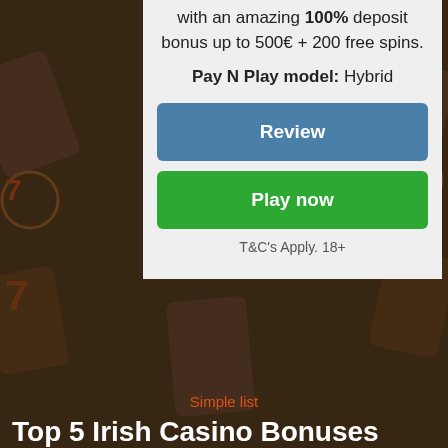with an amazing 100% deposit bonus up to 500€ + 200 free spins.
Pay N Play model: Hybrid
Review
Play now
T&C's Apply. 18+
Simple list
Top 5 Irish Casino Bonuses
| Rank Casino | Bonus |
| --- | --- |